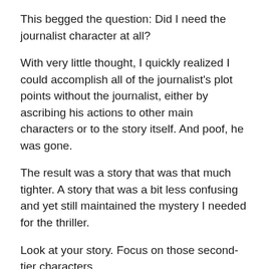This begged the question: Did I need the journalist character at all?
With very little thought, I quickly realized I could accomplish all of the journalist's plot points without the journalist, either by ascribing his actions to other main characters or to the story itself. And poof, he was gone.
The result was a story that was that much tighter. A story that was a bit less confusing and yet still maintained the mystery I needed for the thriller.
Look at your story. Focus on those second-tier characters.
Are there some that don't make it to the end of your story; that simply trigger or drive a scene or two forward?
Can those triggers or drives be handled by another character or even by the story itself?